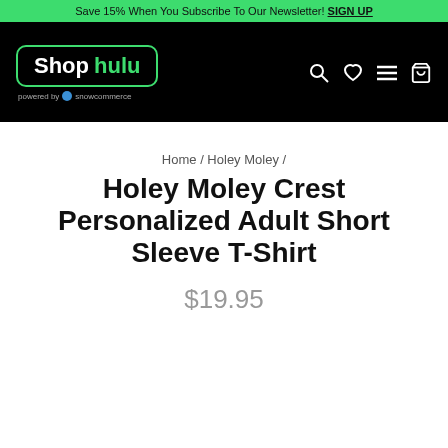Save 15% When You Subscribe To Our Newsletter! SIGN UP
[Figure (logo): Shop hulu logo in black nav bar with search, heart, menu, and cart icons. Powered by snowcommerce text below logo.]
Home / Holey Moley /
Holey Moley Crest Personalized Adult Short Sleeve T-Shirt
$19.95